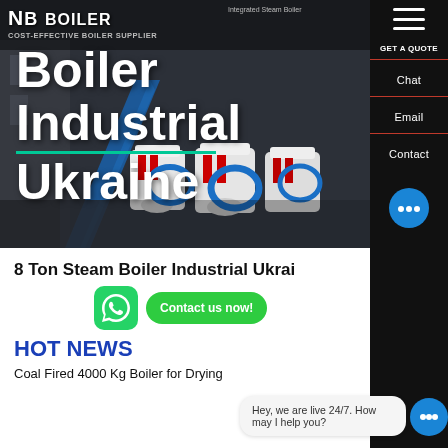COST-EFFECTIVE BOILER SUPPLIER | Integrated Steam Boiler
Boiler Industrial Ukraine
8 Ton Steam Boiler Industrial Ukraine
HOT NEWS
Coal Fired 4000 Kg Boiler for Drying
Hey, we are live 24/7. How may I help you?